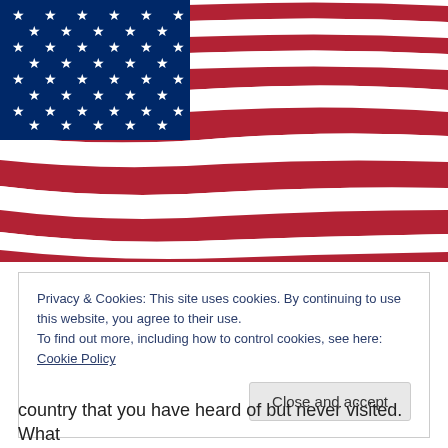[Figure (illustration): A waving American flag showing red and white stripes with a blue canton containing white stars in the upper left corner.]
Privacy & Cookies: This site uses cookies. By continuing to use this website, you agree to their use.
To find out more, including how to control cookies, see here: Cookie Policy
country that you have heard of but never visited. What